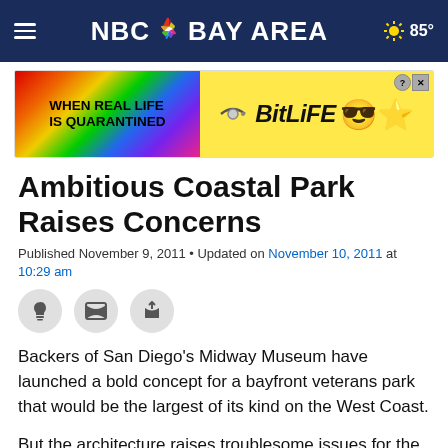[Figure (logo): NBC Bay Area navigation header bar with hamburger menu, NBC peacock logo, NBC BAY AREA text, and weather widget showing sun icon and 85°]
[Figure (screenshot): Advertisement banner for BitLife app with rainbow colored left side reading WHEN REAL LIFE IS QUARANTINED, BitLife branding text and emoji character on yellow background]
Ambitious Coastal Park Raises Concerns
Published November 9, 2011 • Updated on November 10, 2011 at 10:29 am
[Figure (infographic): Social sharing buttons: Facebook, Twitter, and Email icons in circular grey buttons]
Backers of San Diego's Midway Museum have launched a bold concept for a bayfront veterans park that would be the largest of its kind on the West Coast.
But the architecture raises troublesome issues for the San